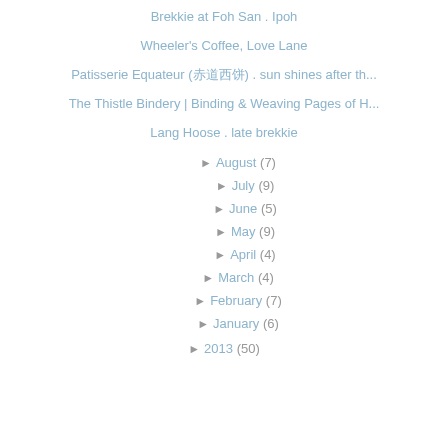Brekkie at Foh San . Ipoh
Wheeler's Coffee, Love Lane
Patisserie Equateur (赤道西饼) . sun shines after th...
The Thistle Bindery | Binding & Weaving Pages of H...
Lang Hoose . late brekkie
► August (7)
► July (9)
► June (5)
► May (9)
► April (4)
► March (4)
► February (7)
► January (6)
► 2013 (50)